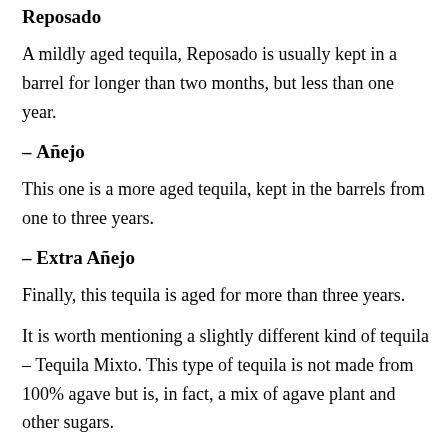Reposado
A mildly aged tequila, Reposado is usually kept in a barrel for longer than two months, but less than one year.
– Añejo
This one is a more aged tequila, kept in the barrels from one to three years.
– Extra Añejo
Finally, this tequila is aged for more than three years.
It is worth mentioning a slightly different kind of tequila – Tequila Mixto. This type of tequila is not made from 100% agave but is, in fact, a mix of agave plant and other sugars.